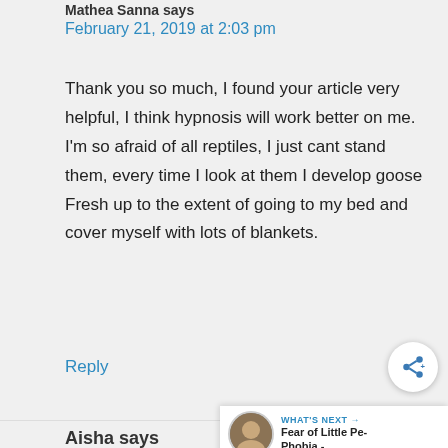Mathea Sanna says
February 21, 2019 at 2:03 pm
Thank you so much, I found your article very helpful, I think hypnosis will work better on me.
I'm so afraid of all reptiles, I just cant stand them, every time I look at them I develop goose Fresh up to the extent of going to my bed and cover myself with lots of blankets.
Reply
Aisha says